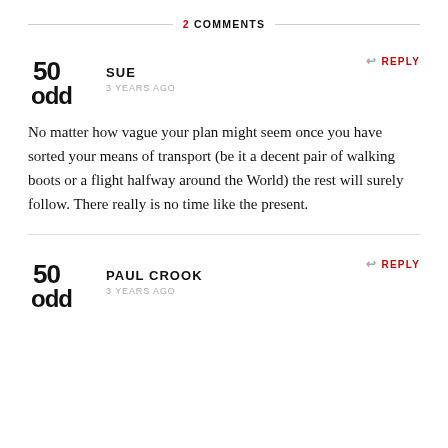2 COMMENTS
[Figure (logo): 50odd blog logo - black text '50' above 'odd']
SUE
3 YEARS AGO
REPLY
No matter how vague your plan might seem once you have sorted your means of transport (be it a decent pair of walking boots or a flight halfway around the World) the rest will surely follow. There really is no time like the present.
[Figure (logo): 50odd blog logo - black text '50' above 'odd']
PAUL CROOK
3 YEARS AGO
REPLY